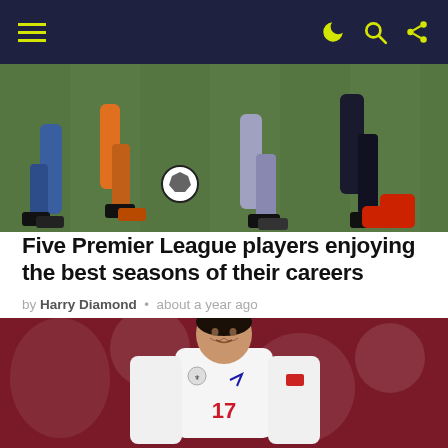Navigation bar with hamburger menu and icons
[Figure (photo): Football/soccer action photo showing players' legs and feet on a grass pitch, partial view of players in blue and orange kits]
Five Premier League players enjoying the best seasons of their careers
by Harry Diamond • about a year ago
[Figure (photo): A footballer wearing England's white kit with number 17, standing in front of a blurred red background]